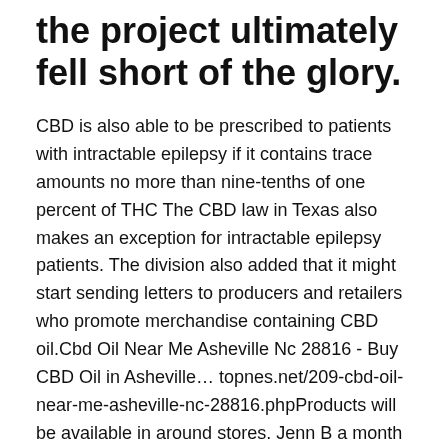the project ultimately fell short of the glory.
CBD is also able to be prescribed to patients with intractable epilepsy if it contains trace amounts no more than nine-tenths of one percent of THC The CBD law in Texas also makes an exception for intractable epilepsy patients. The division also added that it might start sending letters to producers and retailers who promote merchandise containing CBD oil.Cbd Oil Near Me Asheville Nc 28816 - Buy CBD Oil in Asheville… topnes.net/209-cbd-oil-near-me-asheville-nc-28816.phpProducts will be available in around stores. Jenn B a month ago Franny, her farm, her staff are amazing. Whilst cannabis users were, and continue to be to a lesser extent, stigmatised; cannabis products are now sold in large chains of high-street shops. Raleigh, N.C. — Cannabidiol, or CBD, is the compound from part of a hemp leaf, and it makes some major claims to help with anxiety, stress or muscle aches and pains.